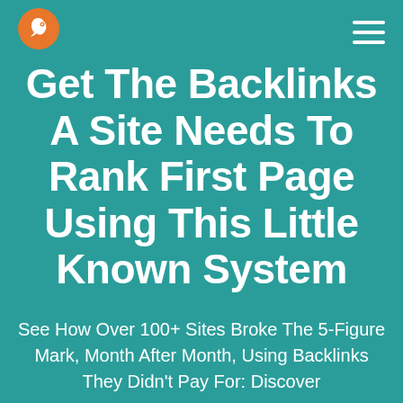[Figure (logo): Orange chameleon logo icon in the top left corner]
Get The Backlinks A Site Needs To Rank First Page Using This Little Known System
See How Over 100+ Sites Broke The 5-Figure Mark, Month After Month, Using Backlinks They Didn't Pay For: Discover